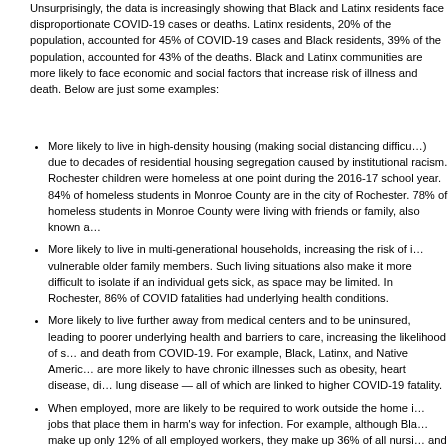Unsurprisingly, the data is increasingly showing that Black and Latinx residents face disproportionate COVID-19 cases or deaths. Latinx residents, 20% of the population, accounted for 45% of COVID-19 cases and Black residents, 39% of the population, accounted for 43% of the deaths. Black and Latinx communities are more likely to face economic and social factors that increase risk of illness and death. Below are just some examples:
More likely to live in high-density housing (making social distancing difficult) due to decades of residential housing segregation caused by institutional racism. 1 in 4 Rochester children were homeless at one point during the 2016-17 school year. 84% of homeless students in Monroe County are in the city of Rochester. 78% of homeless students in Monroe County were living with friends or family, also known a...
More likely to live in multi-generational households, increasing the risk of infecting vulnerable older family members. Such living situations also make it more difficult to isolate if an individual gets sick, as space may be limited. In Rochester, 86% of COVID fatalities had underlying health conditions.
More likely to live further away from medical centers and to be uninsured, leading to poorer underlying health and barriers to care, increasing the likelihood of serious illness and death from COVID-19. For example, Black, Latinx, and Native Americans are more likely to have chronic illnesses such as obesity, heart disease, diabetes, and lung disease — all of which are linked to higher COVID-19 fatality.
When employed, more are likely to be required to work outside the home in essential jobs that place them in harm's way for infection. For example, although Black workers make up only 12% of all employed workers, they make up 36% of all nursing home and health aide...